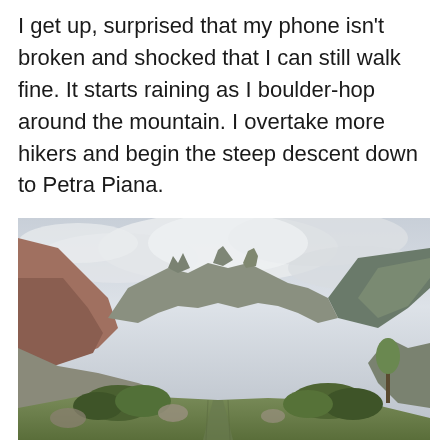I get up, surprised that my phone isn't broken and shocked that I can still walk fine. It starts raining as I boulder-hop around the mountain. I overtake more hikers and begin the steep descent down to Petra Piana.
[Figure (photo): Mountain valley landscape photo showing rocky peaks under a cloudy sky, with a grassy path/track leading through shrubs and boulders in the foreground, likely Corsica near Petra Piana.]